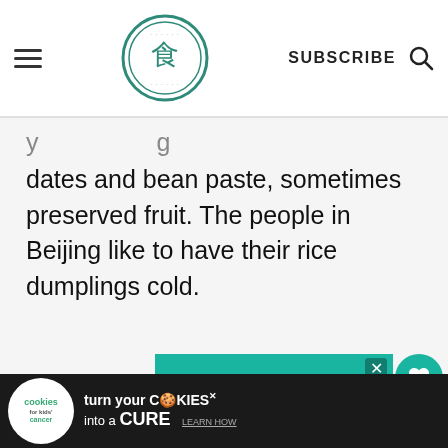SUBSCRIBE
y ... g dates and bean paste, sometimes preserved fruit. The people in Beijing like to have their rice dumplings cold.
[Figure (screenshot): Advertisement banner with teal/green gradient stripes and bold text reading 'We stand with you.' with a close button X in the top right.]
WHAT'S NEXT → Crispy Chilli Beef Recipe...
[Figure (screenshot): Sidebar with heart icon button showing count 11, and a share icon button.]
[Figure (screenshot): Bottom advertisement banner: cookies for kids cancer - turn your cookies into a CURE LEARN HOW]